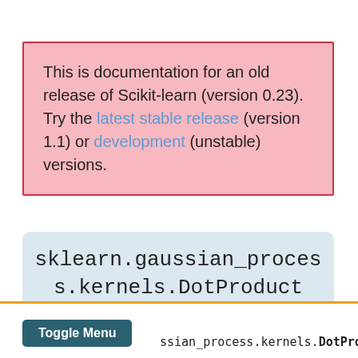This is documentation for an old release of Scikit-learn (version 0.23). Try the latest stable release (version 1.1) or development (unstable) versions.
sklearn.gaussian_process.kernels.DotProduct
ssian_process.kernels.DotProduct(sigm...